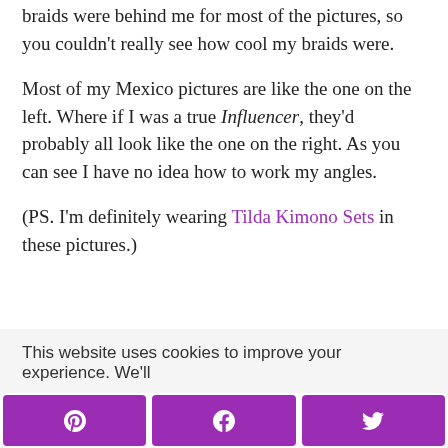braids were behind me for most of the pictures, so you couldn't really see how cool my braids were.
Most of my Mexico pictures are like the one on the left. Where if I was a true Influencer, they'd probably all look like the one on the right. As you can see I have no idea how to work my angles.
(PS. I'm definitely wearing Tilda Kimono Sets in these pictures.)
This website uses cookies to improve your experience. We'll